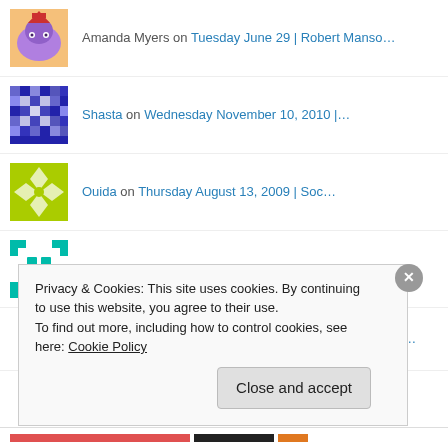Amanda Myers on Tuesday June 29 | Robert Manso…
[Figure (photo): Avatar image of a purple pony cartoon character wearing a witch hat]
Shasta on Wednesday November 10, 2010 |…
[Figure (photo): Avatar image of a blue and white pixel pattern]
Ouida on Thursday August 13, 2009 | Soc…
[Figure (photo): Avatar image of a yellow-green geometric diamond pattern]
Noemi on Wednesday November 10, 2010 |…
[Figure (photo): Avatar image of a teal/cyan geometric pattern with corner brackets]
how do i stop thinki… on Friday October 16, 2009 | Bish…
Privacy & Cookies: This site uses cookies. By continuing to use this website, you agree to their use.
To find out more, including how to control cookies, see here: Cookie Policy
Close and accept